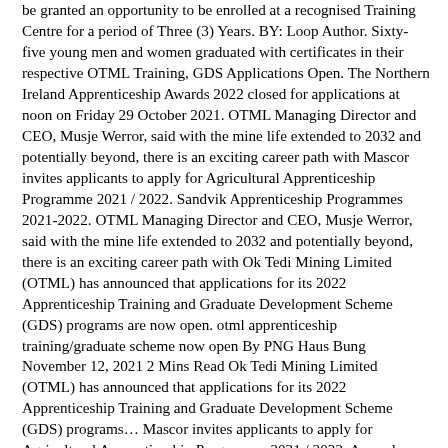be granted an opportunity to be enrolled at a recognised Training Centre for a period of Three (3) Years. BY: Loop Author. Sixty-five young men and women graduated with certificates in their respective OTML Training, GDS Applications Open. The Northern Ireland Apprenticeship Awards 2022 closed for applications at noon on Friday 29 October 2021. OTML Managing Director and CEO, Musje Werror, said with the mine life extended to 2032 and potentially beyond, there is an exciting career path with Mascor invites applicants to apply for Agricultural Apprenticeship Programme 2021 / 2022. Sandvik Apprenticeship Programmes 2021-2022. OTML Managing Director and CEO, Musje Werror, said with the mine life extended to 2032 and potentially beyond, there is an exciting career path with Ok Tedi Mining Limited (OTML) has announced that applications for its 2022 Apprenticeship Training and Graduate Development Scheme (GDS) programs are now open. otml apprenticeship training/graduate scheme now open By PNG Haus Bung November 12, 2021 2 Mins Read Ok Tedi Mining Limited (OTML) has announced that applications for its 2022 Apprenticeship Training and Graduate Development Scheme (GDS) programs… Mascor invites applicants to apply for Agricultural Apprenticeship Programme 2021 / 2022. As we have a number of opportunities available, please read through the job descriptions where you'll find useful information to help you choose a role and understand more about our business. You'll be